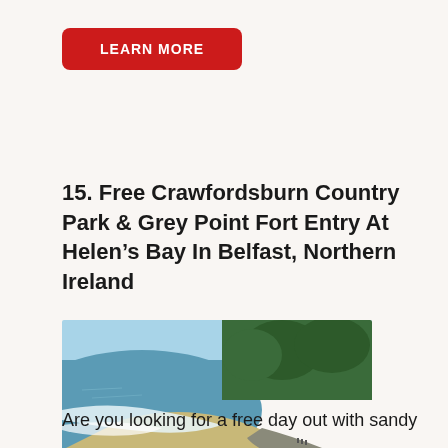LEARN MORE
15. Free Crawfordsburn Country Park & Grey Point Fort Entry At Helen's Bay In Belfast, Northern Ireland
[Figure (photo): Aerial/elevated view of Helen's Bay beach at Crawfordsburn Country Park, Northern Ireland. Shows a curved sandy beach with white surf along the shoreline, a coastal path/road running alongside the beach, green wooded hills in the background, and blue sea. A few people are visible on the beach path.]
Are you looking for a free day out with sandy